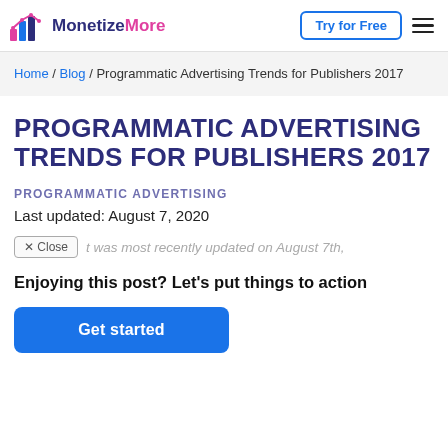MonetizeMore | Try for Free
Home / Blog / Programmatic Advertising Trends for Publishers 2017
PROGRAMMATIC ADVERTISING TRENDS FOR PUBLISHERS 2017
PROGRAMMATIC ADVERTISING
Last updated: August 7, 2020
t was most recently updated on August 7th,
Enjoying this post? Let's put things to action
Get started